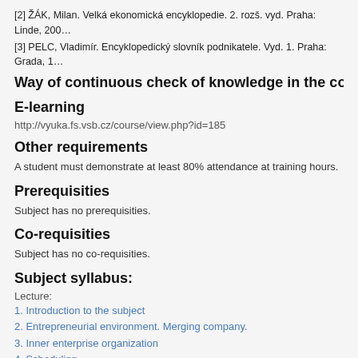[2] ŽÁK, Milan. Velká ekonomická encyklopedie. 2. rozš. vyd. Praha: Linde, 200...
[3] PELC, Vladimír. Encyklopedický slovník podnikatele. Vyd. 1. Praha: Grada, 1...
Way of continuous check of knowledge in the cou...
E-learning
http://vyuka.fs.vsb.cz/course/view.php?id=185
Other requirements
A student must demonstrate at least 80% attendance at training hours.
Prerequisities
Subject has no prerequisities.
Co-requisities
Subject has no co-requisities.
Subject syllabus:
Lecture:
1. Introduction to the subject
2. Entrepreneurial environment. Merging company.
3. Inner enterprise organization
4. Scheduling